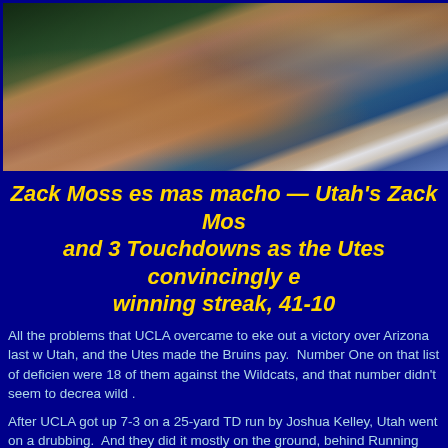[Figure (photo): Cheerleaders at a nighttime football game, showing legs and blue/gold pom-poms, with green turf in background]
Zack Moss es mas macho — Utah's Zack Moss and 3 Touchdowns as the Utes convincingly ended winning streak, 41-10
All the problems that UCLA overcame to eke out a victory over Arizona last w Utah, and the Utes made the Bruins pay. Number One on that list of deficien were 18 of them against the Wildcats, and that number didn't seem to decrea wild .
After UCLA got up 7-3 on a 25-yard TD run by Joshua Kelley, Utah went on a drubbing. And they did it mostly on the ground, behind Running Back Zack M carries, with 3 TD's, and a 60-yard non-scoring scamper.
Utah as a team gained 325 yards on the ground, and 4 TD's. And it wasn't ju (one of the largest in the Country) opening gaping holes. In fact, the Bruins